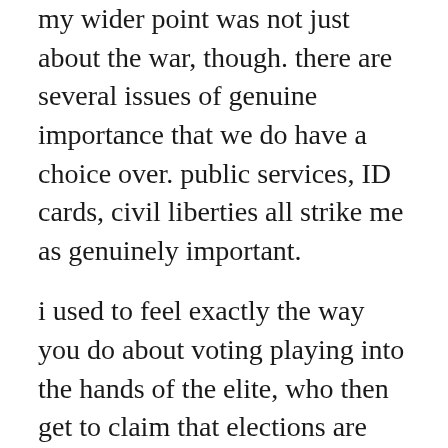my wider point was not just about the war, though. there are several issues of genuine importance that we do have a choice over. public services, ID cards, civil liberties all strike me as genuinely important.
i used to feel exactly the way you do about voting playing into the hands of the elite, who then get to claim that elections are meaningful. but the decline in voter turnouts that we are experiencing usually gets interpreted as apathy, and the apathy in turn gets interpreted as a sign that things are basically okay - or worse, a sign that we are all post-political, post-ideological consumers who couldn't give a shit. maybe we should stop thinking about voting as a way of communicating with the